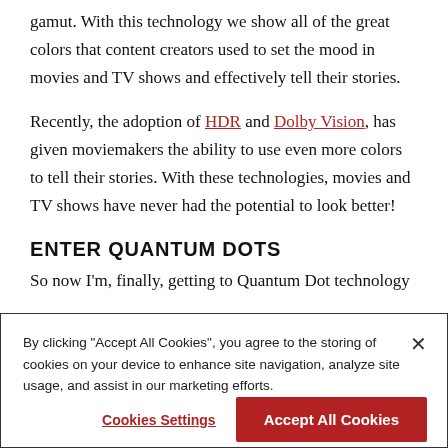gamut. With this technology we show all of the great colors that content creators used to set the mood in movies and TV shows and effectively tell their stories.
Recently, the adoption of HDR and Dolby Vision, has given moviemakers the ability to use even more colors to tell their stories. With these technologies, movies and TV shows have never had the potential to look better!
ENTER QUANTUM DOTS
So now I'm, finally, getting to Quantum Dot technology
By clicking "Accept All Cookies", you agree to the storing of cookies on your device to enhance site navigation, analyze site usage, and assist in our marketing efforts.